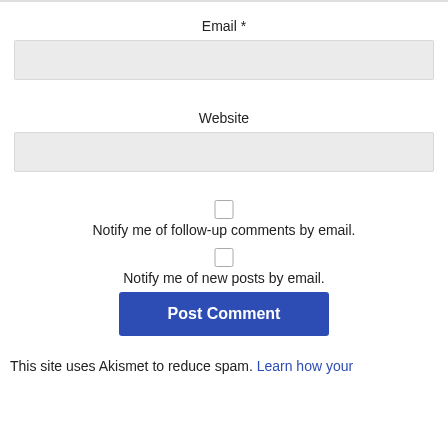Email *
Website
Notify me of follow-up comments by email.
Notify me of new posts by email.
Post Comment
This site uses Akismet to reduce spam. Learn how your